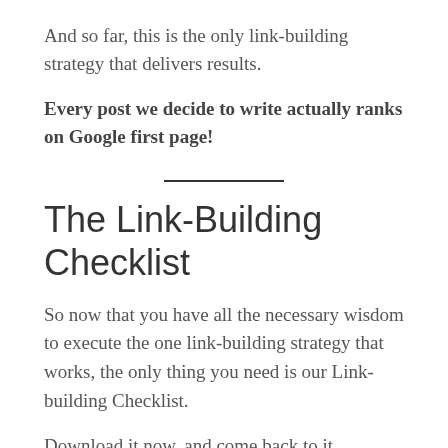And so far, this is the only link-building strategy that delivers results.
Every post we decide to write actually ranks on Google first page!
The Link-Building Checklist
So now that you have all the necessary wisdom to execute the one link-building strategy that works, the only thing you need is our Link-building Checklist.
Download it now, and come back to it whenever you need. Start the only back-linking strategy that works today, and see the results for